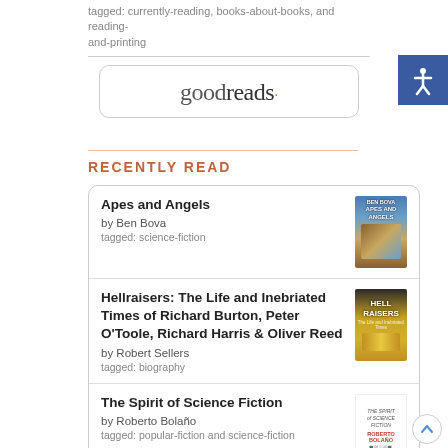tagged: currently-reading, books-about-books, and reading-and-printing
[Figure (logo): Goodreads logo in a rounded rectangle box]
RECENTLY READ
Apes and Angels
by Ben Bova
tagged: science-fiction
Hellraisers: The Life and Inebriated Times of Richard Burton, Peter O'Toole, Richard Harris & Oliver Reed
by Robert Sellers
tagged: biography
The Spirit of Science Fiction
by Roberto Bolaño
tagged: popular-fiction and science-fiction